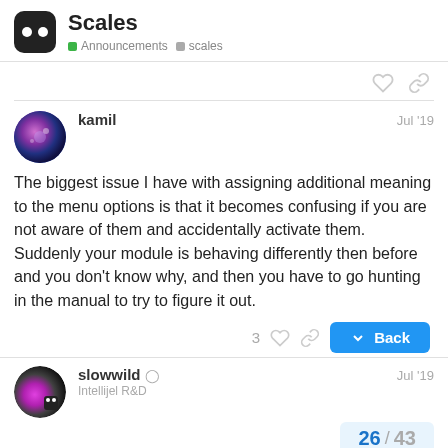Scales — Announcements scales
The biggest issue I have with assigning additional meaning to the menu options is that it becomes confusing if you are not aware of them and accidentally activate them. Suddenly your module is behaving differently then before and you don't know why, and then you have to go hunting in the manual to try to figure it out.
kamil  Jul '19
slowwild  Intellijel R&D  Jul '19
26 / 43